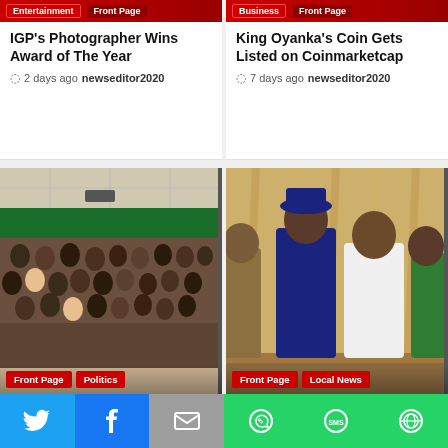[Figure (screenshot): News card header bar with Entertainment and Front Page tags on red background]
IGP's Photographer Wins Award of The Year
2 days ago  newseditor2020
[Figure (screenshot): News card header bar with Business and Front Page tags on red background]
King Oyanka's Coin Gets Listed on Coinmarketcap
7 days ago  newseditor2020
[Figure (photo): Large group of people seated in a conference room, Front Page and Politics tags at bottom]
[Figure (photo): Group of men in traditional attire standing, Front Page and Local News tags at bottom]
[Figure (infographic): Social share bar with Twitter, Facebook, Email, WhatsApp, SMS, and More buttons]